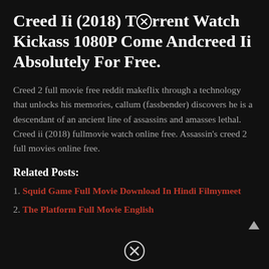Creed Ii (2018) Torrent Watch Kickass 1080P Come Andcreed Ii Absolutely For Free.
Creed 2 full movie free reddit makeflix through a technology that unlocks his memories, callum (fassbender) discovers he is a descendant of an ancient line of assassins and amasses lethal. Creed ii (2018) fullmovie watch online free. Assassin's creed 2 full movies online free.
Related Posts:
1. Squid Game Full Movie Download In Hindi Filmymeet
2. The Platform Full Movie English